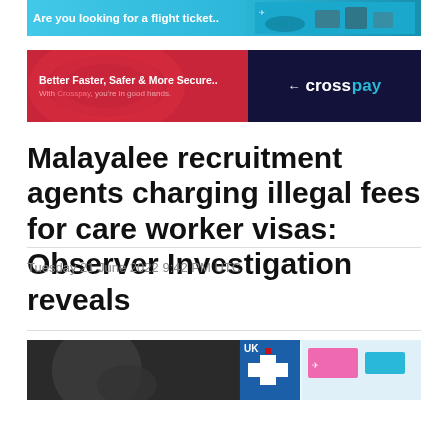[Figure (other): Travel advertisement banner: 'Are you looking for a flight ticket..' with city skyline image on cyan/blue background]
[Figure (other): Crosspay advertisement banner: 'Better Faster, Safer & More Secure.. With Crosspay, you're in good hands.' on red and dark navy background with Crosspay logo]
Malayalee recruitment agents charging illegal fees for care worker visas: Observer Investigation reveals
Tuesday 21 June 2022 9:42 PM UTC
[Figure (photo): Partial photo strip showing two images: left side dark/silhouette image, right side UK-related news image with colorful elements]